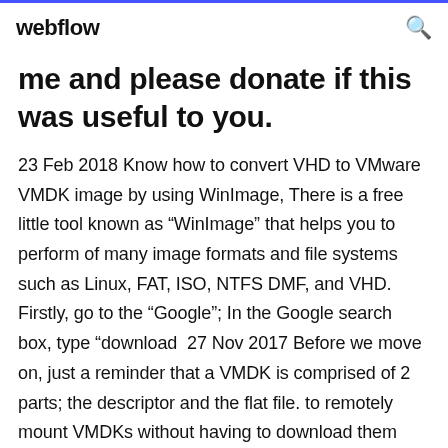webflow
me and please donate if this was useful to you.
23 Feb 2018 Know how to convert VHD to VMware VMDK image by using WinImage, There is a free little tool known as “WinImage” that helps you to perform of many image formats and file systems such as Linux, FAT, ISO, NTFS DMF, and VHD. Firstly, go to the “Google”; In the Google search box, type “download  27 Nov 2017 Before we move on, just a reminder that a VMDK is comprised of 2 parts; the descriptor and the flat file. to remotely mount VMDKs without having to download them locally. Linux Reader is a free tool distributed by Disk Internals. The simple desktop utilities alone